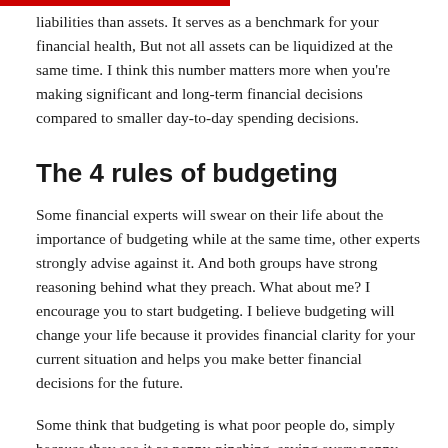liabilities than assets. It serves as a benchmark for your financial health, But not all assets can be liquidized at the same time. I think this number matters more when you're making significant and long-term financial decisions compared to smaller day-to-day spending decisions.
The 4 rules of budgeting
Some financial experts will swear on their life about the importance of budgeting while at the same time, other experts strongly advise against it. And both groups have strong reasoning behind what they preach. What about me? I encourage you to start budgeting. I believe budgeting will change your life because it provides financial clarity for your current situation and helps you make better financial decisions for the future.
Some think that budgeting is what poor people do, simply because they see it as penny-pinching, saving every penny, and being